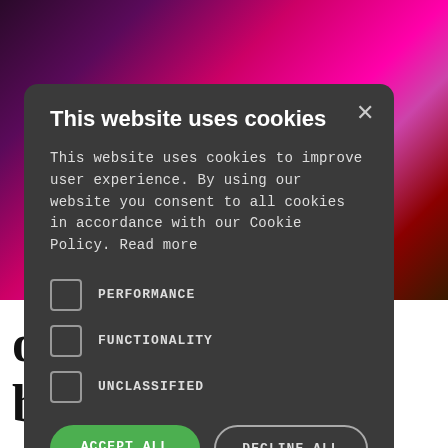[Figure (photo): Background photo of a person in dark clothing against a bright magenta/pink background, partially visible behind a cookie consent modal dialog.]
This website uses cookies
This website uses cookies to improve user experience. By using our website you consent to all cookies in accordance with our Cookie Policy. Read more
PERFORMANCE
FUNCTIONALITY
UNCLASSIFIED
ACCEPT ALL
DECLINE ALL
SHOW DETAILS
o, I'll be a farmer!